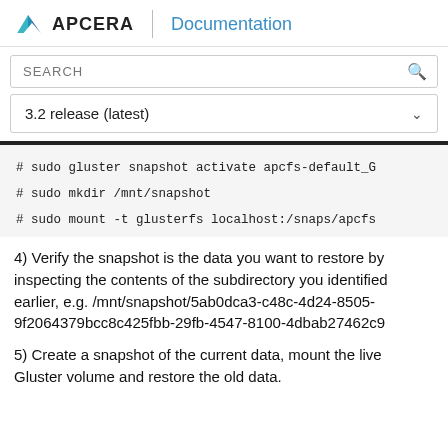APCERA Documentation
SEARCH
3.2 release (latest)
# sudo gluster snapshot activate apcfs-default_G
# sudo mkdir /mnt/snapshot
# sudo mount -t glusterfs localhost:/snaps/apcfs
4) Verify the snapshot is the data you want to restore by inspecting the contents of the subdirectory you identified earlier, e.g. /mnt/snapshot/5ab0dca3-c48c-4d24-8505-9f2064379bcc8c425fbb-29fb-4547-8100-4dbab27462c9
5) Create a snapshot of the current data, mount the live Gluster volume and restore the old data.